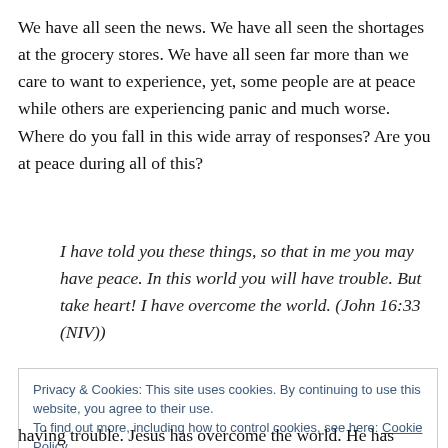We have all seen the news. We have all seen the shortages at the grocery stores. We have all seen far more than we care to want to experience, yet, some people are at peace while others are experiencing panic and much worse. Where do you fall in this wide array of responses? Are you at peace during all of this?
I have told you these things, so that in me you may have peace. In this world you will have trouble. But take heart! I have overcome the world. (John 16:33 (NIV))
Privacy & Cookies: This site uses cookies. By continuing to use this website, you agree to their use. To find out more, including how to control cookies, see here: Cookie Policy
having trouble. Jesus has overcome the world. He has